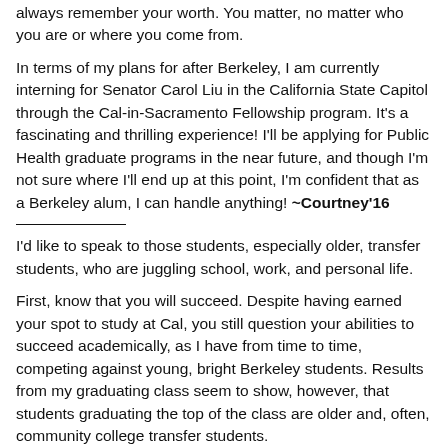always remember your worth. You matter, no matter who you are or where you come from.
In terms of my plans for after Berkeley, I am currently interning for Senator Carol Liu in the California State Capitol through the Cal-in-Sacramento Fellowship program. It’s a fascinating and thrilling experience!  I’ll be applying for Public Health graduate programs in the near future, and though I’m not sure where I’ll end up at this point, I’m confident that as a Berkeley alum, I can handle anything! ~Courtney’16
I’d like to speak to those students, especially older, transfer students, who are juggling school, work, and personal life.
First, know that you will succeed.  Despite having earned your spot to study at Cal, you still question your abilities to succeed academically, as I have from time to time, competing against young, bright Berkeley students.  Results from my graduating class seem to show, however, that students graduating the top of the class are older and, often, community college transfer students.